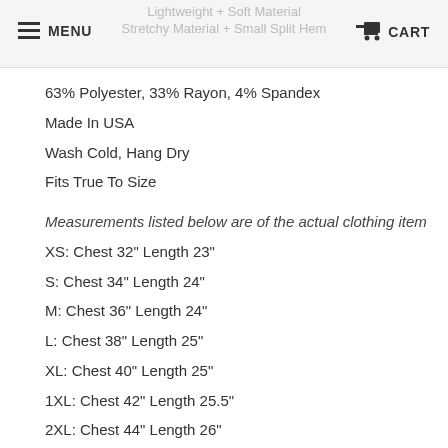Lightweight + Soft Material  Stretchy Material + Small Split Hem  MENU  CART
63% Polyester, 33% Rayon, 4% Spandex
Made In USA
Wash Cold, Hang Dry
Fits True To Size
Measurements listed below are of the actual clothing item
XS: Chest 32" Length 23"
S: Chest 34" Length 24"
M: Chest 36" Length 24"
L: Chest 38" Length 25"
XL: Chest 40" Length 25"
1XL: Chest 42" Length 25.5"
2XL: Chest 44" Length 26"
3XL: Chest 46" Length 26"